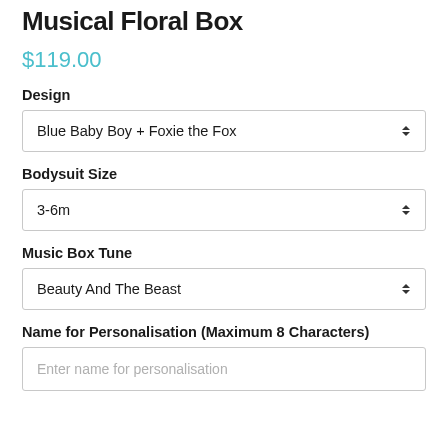Musical Floral Box
$119.00
Design
Blue Baby Boy + Foxie the Fox
Bodysuit Size
3-6m
Music Box Tune
Beauty And The Beast
Name for Personalisation (Maximum 8 Characters)
Enter name for personalisation